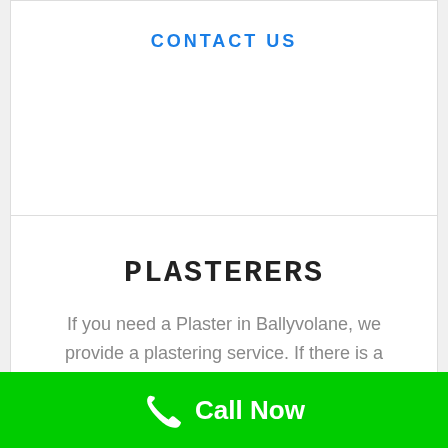CONTACT US
PLASTERERS
If you need a Plaster in Ballyvolane, we provide a plastering service. If there is a problem we can fix it.
CONTACT US
Call Now